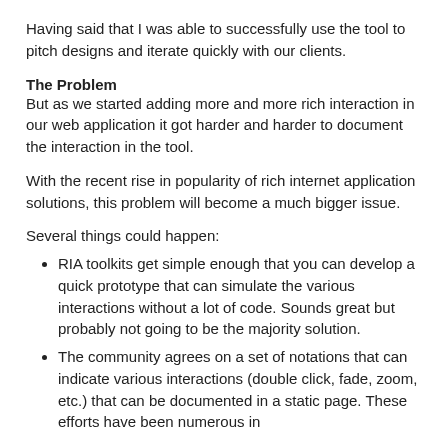Having said that I was able to successfully use the tool to pitch designs and iterate quickly with our clients.
The Problem
But as we started adding more and more rich interaction in our web application it got harder and harder to document the interaction in the tool.
With the recent rise in popularity of rich internet application solutions, this problem will become a much bigger issue.
Several things could happen:
RIA toolkits get simple enough that you can develop a quick prototype that can simulate the various interactions without a lot of code. Sounds great but probably not going to be the majority solution.
The community agrees on a set of notations that can indicate various interactions (double click, fade, zoom, etc.) that can be documented in a static page. These efforts have been numerous in